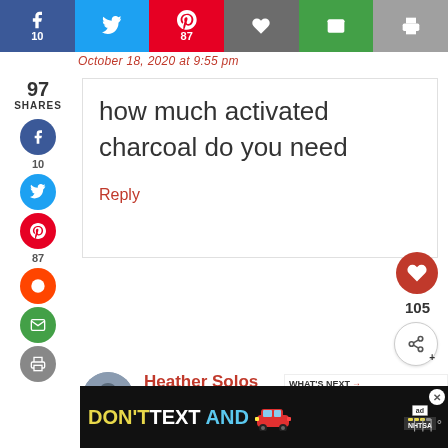[Figure (screenshot): Social media share button bar with Facebook (10), Twitter, Pinterest (87), heart, email (green), and print (gray) buttons]
October 18, 2020 at 9:55 pm
97 SHARES
how much activated charcoal do you need
Reply
105
Heather Solos
May 29, 2021 at 5:49 am
WHAT'S NEXT → Egg Rolls with Sweet and...
[Figure (screenshot): Ad banner: DON'T TEXT AND with car emoji and NHTSA logo]